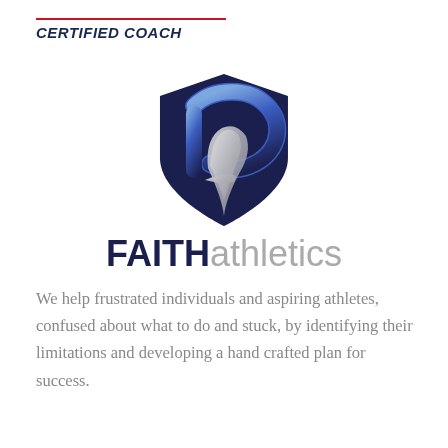CERTIFIED COACH
[Figure (logo): FAITHathletics shield logo with stylized F and A letters in blue and silver, with brand name FAITH in dark navy bold and athletics in grey]
We help frustrated individuals and aspiring athletes, confused about what to do and stuck, by identifying their limitations and developing a hand crafted plan for success.